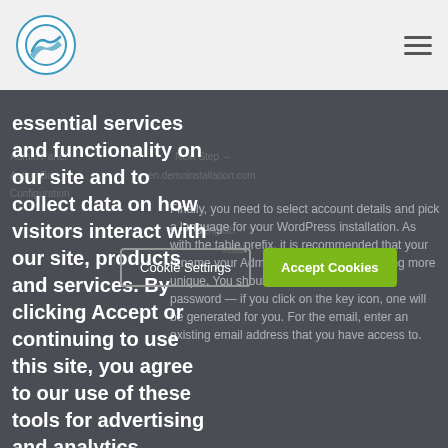essential services and functionality on our site and to collect data on how visitors interact with our site, products and services. By clicking Accept or continuing to use this site, you agree to our use of these tools for advertising and analytics
Finally, you need to select account details and pick a language for your WordPress installation. As with the table prefix, it is recommended that your rename your Admin Username to something more unique. You should also choose a secure password — if you click on the key icon, one will be generated for you. For the email, enter an existing email address that you have access to.
Cookie Settings
Accept Cookies